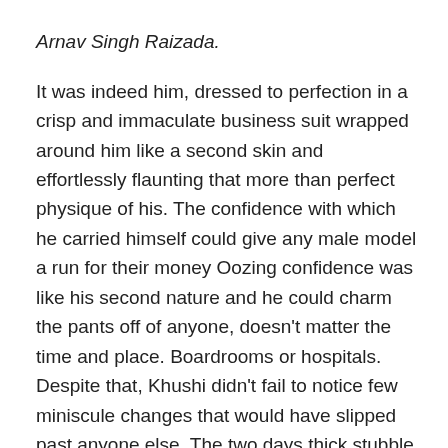Arnav Singh Raizada.
It was indeed him, dressed to perfection in a crisp and immaculate business suit wrapped around him like a second skin and effortlessly flaunting that more than perfect physique of his. The confidence with which he carried himself could give any male model a run for their money Oozing confidence was like his second nature and he could charm the pants off of anyone, doesn't matter the time and place. Boardrooms or hospitals. Despite that, Khushi didn't fail to notice few miniscule changes that would have slipped past anyone else. The two days thick stubble was giving him a more roughened look, if not anything. His otherwise thick manes that used to be gelled and set to perfection, were a bit disheveled as if he had raked his hands multiple times through them. His eyes